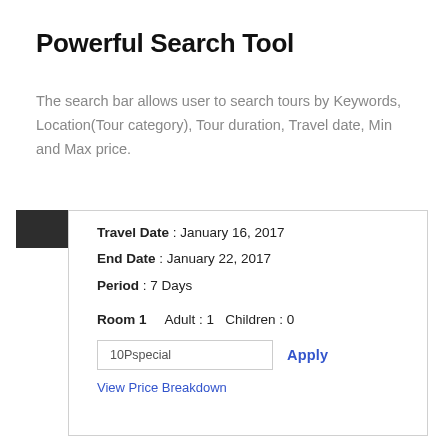Powerful Search Tool
The search bar allows user to search tours by Keywords, Location(Tour category), Tour duration, Travel date, Min and Max price.
[Figure (screenshot): A booking card UI showing Travel Date: January 16, 2017, End Date: January 22, 2017, Period: 7 Days, Room 1 Adult: 1 Children: 0, a coupon input field with '10Pspecial' and an Apply button, and a 'View Price Breakdown' link.]